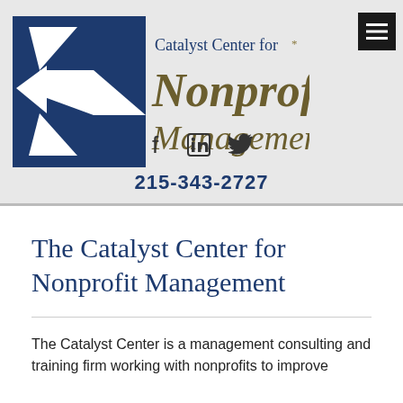[Figure (logo): Catalyst Center for Nonprofit Management logo — dark blue geometric pinwheel/arrow shape on left, with 'Catalyst Center for Nonprofit Management' text on right in dark blue and olive/gold colors]
f  in  🐦
215-343-2727
The Catalyst Center for Nonprofit Management
The Catalyst Center is a management consulting and training firm working with nonprofits to improve